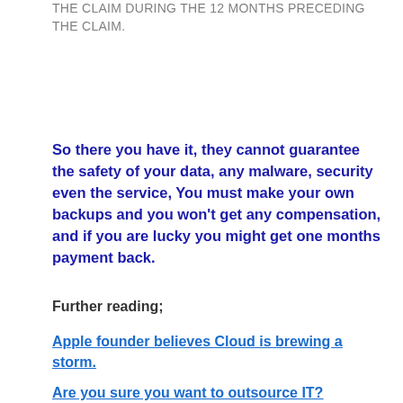THE AGREEMENT FOR THE SERVICE THAT GAVE RISE TO THE CLAIM DURING THE 12 MONTHS PRECEDING THE CLAIM.
So there you have it, they cannot guarantee the safety of your data, any malware, security even the service, You must make your own backups and you won't get any compensation, and if you are lucky you might get one months payment back.
Further reading;
Apple founder believes Cloud is brewing a storm.
Are you sure you want to outsource IT?